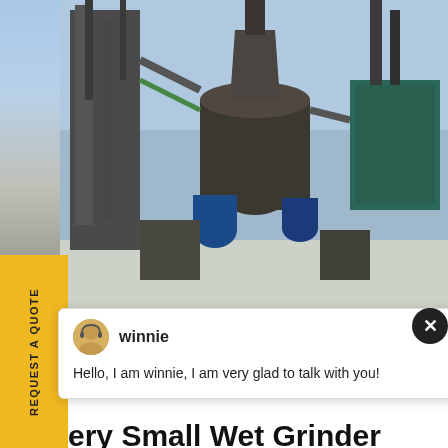[Figure (photo): Industrial grinding/milling equipment outdoors in winter setting with large metal tanks and piping]
REQUEST A QUOTE
[Figure (screenshot): Chat popup with avatar of 'winnie' with message: Hello, I am winnie, I am very glad to talk with you!]
Very Small Wet Grinder
very small wet grinder mixer in india rinder mixer in india Products. As a manufacturer of crushing, grinding a equipments, we offer advanced, reas any size-reduction requirements incl
[Figure (photo): Customer service agent photo with headset, blue circle with number 1, Have any requests click here banner, and Quotation button]